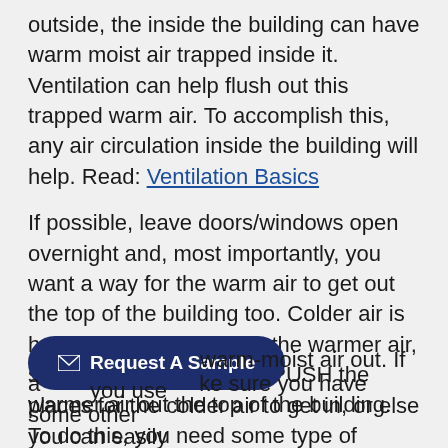outside, the inside the building can have warm moist air trapped inside it. Ventilation can help flush out this trapped warm air. To accomplish this, any air circulation inside the building will help. Read: Ventilation Basics
If possible, leave doors/windows open overnight and, most importantly, you want a way for the warm air to get out the top of the building too. Colder air is heavier and denser than the warmer air, so cooler air will actually PUSH the warmer air out the top of the building. To do this, you need some type of exhaust holes in the top of the building for the warm air to get out. We want relatively cold and drier air to replace the warm moist air. You WANT the building to be COLD INSIDE!
Another option is to use vents (or a fan) in the top portion of the ... warm-moist air out. If you use a... make sure you have some other places for the colder air to get in, or else you can easily...